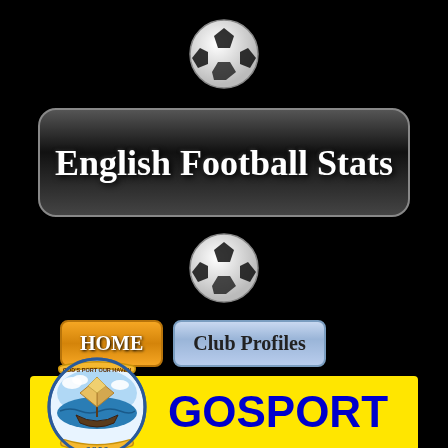[Figure (illustration): Soccer ball icon at top center]
English Football Stats
[Figure (illustration): Soccer ball icon below banner]
[Figure (illustration): HOME button (orange) and Club Profiles button (light blue)]
[Figure (logo): Gosport Borough FC club crest — circular badge with sailing ship, sea, and ribbon reading GOD'S PORT OUR HAVEN, GBFC]
GOSPORT